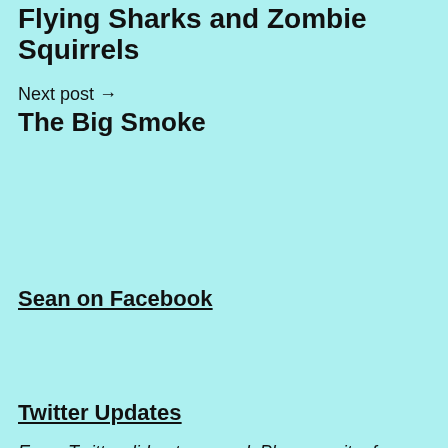Flying Sharks and Zombie Squirrels
Next post →
The Big Smoke
Sean on Facebook
Twitter Updates
Error: Twitter did not respond. Please wait a few